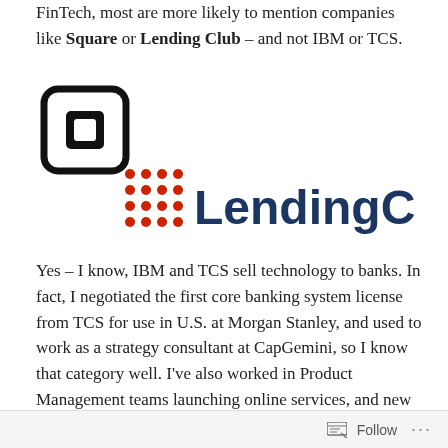FinTech, most are more likely to mention companies like Square or Lending Club – and not IBM or TCS.
[Figure (logo): Square logo: black rounded square outline with a small square in the center]
[Figure (logo): LendingClub logo: red dot grid pattern followed by 'LendingClub' text in dark navy blue]
Yes – I know, IBM and TCS sell technology to banks. In fact, I negotiated the first core banking system license from TCS for use in U.S. at Morgan Stanley, and used to work as a strategy consultant at CapGemini, so I know that category well. I've also worked in Product Management teams launching online services, and new products. Partners are often pivotal to success.
Follow ...